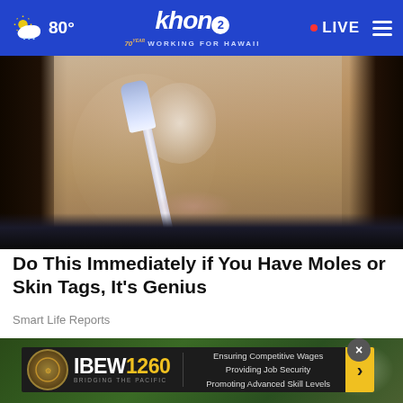80° khon2 WORKING FOR HAWAII LIVE
[Figure (photo): Close-up photo of a woman applying something to her nose with a toothbrush]
Do This Immediately if You Have Moles or Skin Tags, It's Genius
Smart Life Reports
[Figure (photo): Advertisement banner for IBEW 1260 - Bridging The Pacific - Ensuring Competitive Wages, Providing Job Security, Promoting Advanced Skill Levels]